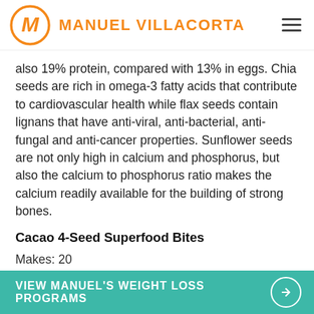MANUEL VILLACORTA
also 19% protein, compared with 13% in eggs. Chia seeds are rich in omega-3 fatty acids that contribute to cardiovascular health while flax seeds contain lignans that have anti-viral, anti-bacterial, anti-fungal and anti-cancer properties. Sunflower seeds are not only high in calcium and phosphorus, but also the calcium to phosphorus ratio makes the calcium readily available for the building of strong bones.
Cacao 4-Seed Superfood Bites
Makes: 20
VIEW MANUEL'S WEIGHT LOSS PROGRAMS